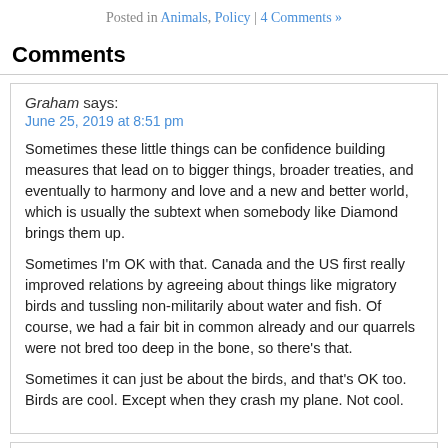Posted in Animals, Policy | 4 Comments »
Comments
Graham says:
June 25, 2019 at 8:51 pm

Sometimes these little things can be confidence building measures that lead on to bigger things, broader treaties, and eventually to harmony and love and a new and better world, which is usually the subtext when somebody like Diamond brings them up.

Sometimes I'm OK with that. Canada and the US first really improved relations by agreeing about things like migratory birds and tussling non-militarily about water and fish. Of course, we had a fair bit in common already and our quarrels were not bred too deep in the bone, so there's that.

Sometimes it can just be about the birds, and that's OK too. Birds are cool. Except when they crash my plane. Not cool.
Adar says:
June 26, 2019 at 11:20 am